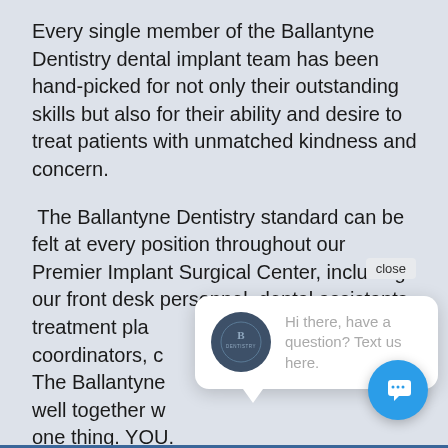Every single member of the Ballantyne Dentistry dental implant team has been hand-picked for not only their outstanding skills but also for their ability and desire to treat patients with unmatched kindness and concern.
The Ballantyne Dentistry standard can be felt at every position throughout our Premier Implant Surgical Center, including our front desk personnel, dental assistants, treatment pla[nners,] coordinators, c[linicians.] The Ballantyne [team works] well together [with focus on] one thing. YOU.
[Figure (screenshot): Chat popup widget showing Ballantyne Dentistry logo and message: 'Hi there, have a question? Text us here.' with a close button and blue chat bubble icon in bottom right.]